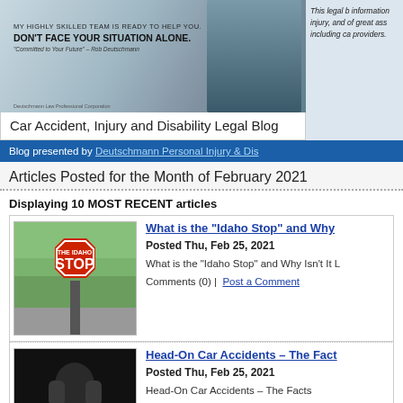[Figure (photo): Law firm banner image with attorney in suit and text 'MY HIGHLY SKILLED TEAM IS READY TO HELP YOU. DON'T FACE YOUR SITUATION ALONE.' and 'Committed to Your Future - Rob Deutschmann']
This legal b information injury, and of great ass including ca providers.
Car Accident, Injury and Disability Legal Blog
Blog presented by Deutschmann Personal Injury & Dis
Articles Posted for the Month of February 2021
Displaying 10 MOST RECENT articles
[Figure (photo): Photo of Idaho Stop sign in outdoor setting with trees]
What is the “Idaho Stop” and Why
Posted Thu, Feb 25, 2021
What is the “Idaho Stop” and Why Isn’t It L
Comments (0) | Post a Comment
[Figure (photo): Dark photo of person in distress, covering face with hands]
Head-On Car Accidents – The Fact
Posted Thu, Feb 25, 2021
Head-On Car Accidents – The Facts